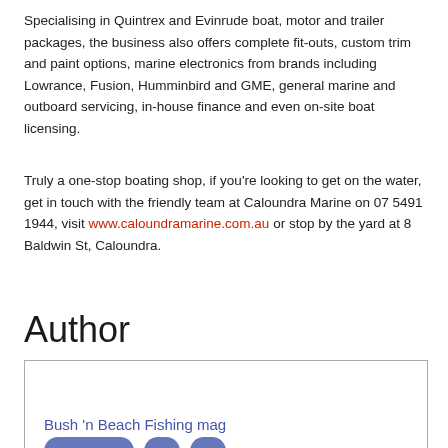Specialising in Quintrex and Evinrude boat, motor and trailer packages, the business also offers complete fit-outs, custom trim and paint options, marine electronics from brands including Lowrance, Fusion, Humminbird and GME, general marine and outboard servicing, in-house finance and even on-site boat licensing.
Truly a one-stop boating shop, if you're looking to get on the water, get in touch with the friendly team at Caloundra Marine on 07 5491 1944, visit www.caloundramarine.com.au or stop by the yard at 8 Baldwin St, Caloundra.
Author
Bush 'n Beach Fishing mag